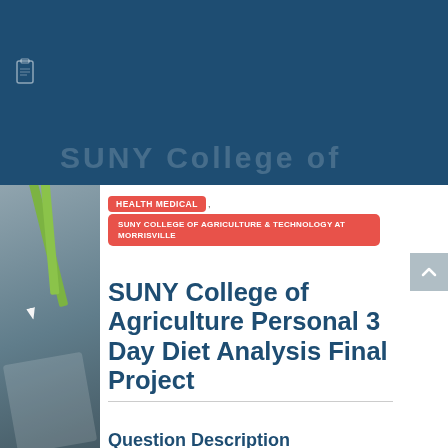[Figure (photo): Dark blue banner at top of page with faint 'SUNY College of' text partially visible]
[Figure (photo): Left side image showing green pencils/pens and a notebook against a gray background]
HEALTH MEDICAL ,
SUNY COLLEGE OF AGRICULTURE & TECHNOLOGY AT MORRISVILLE
SUNY College of Agriculture Personal 3 Day Diet Analysis Final Project
Question Description